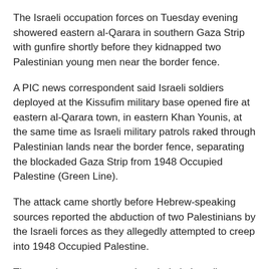The Israeli occupation forces on Tuesday evening showered eastern al-Qarara in southern Gaza Strip with gunfire shortly before they kidnapped two Palestinian young men near the border fence.
A PIC news correspondent said Israeli soldiers deployed at the Kissufim military base opened fire at eastern al-Qarara town, in eastern Khan Younis, at the same time as Israeli military patrols raked through Palestinian lands near the border fence, separating the blockaded Gaza Strip from 1948 Occupied Palestine (Green Line).
The attack came shortly before Hebrew-speaking sources reported the abduction of two Palestinians by the Israeli forces as they allegedly attempted to creep into 1948 Occupied Palestine.
The attack represents another chain in Israel's violations of the ceasefire deal struck with the Palestinian resistance in the wake of the 2014 Israeli offensive on the besieged coastal enclave of Gaza.
Israeli Soldiers Abduct A Palestinian In Jerusalem